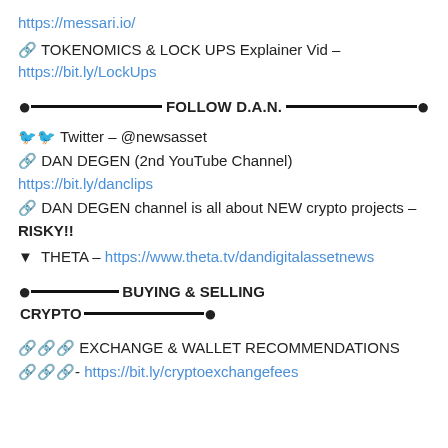https://messari.io/
🔗 TOKENOMICS & LOCK UPS Explainer Vid – https://bit.ly/LockUps
FOLLOW D.A.N.
🐦🐦 Twitter – @newsasset
🔗 DAN DEGEN (2nd YouTube Channel) https://bit.ly/danclips
🔗 DAN DEGEN channel is all about NEW crypto projects – RISKY!!
▼ THETA – https://www.theta.tv/dandigitalassetnews
BUYING & SELLING CRYPTO
🔗🔗🔗 EXCHANGE & WALLET RECOMMENDATIONS
🔗🔗🔗- https://bit.ly/cryptoexchangefees